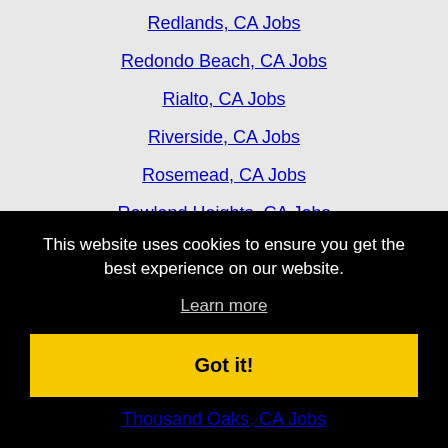Redlands, CA Jobs
Redondo Beach, CA Jobs
Rialto, CA Jobs
Riverside, CA Jobs
Rosemead, CA Jobs
Rowland Heights, CA Jobs
San Bernardino, CA Jobs
San Clemente, CA Jobs
San Gabriel, CA Jobs
San Marcos, CA Jobs
This website uses cookies to ensure you get the best experience on our website.
Learn more
Got it!
Thousand Oaks, CA Jobs